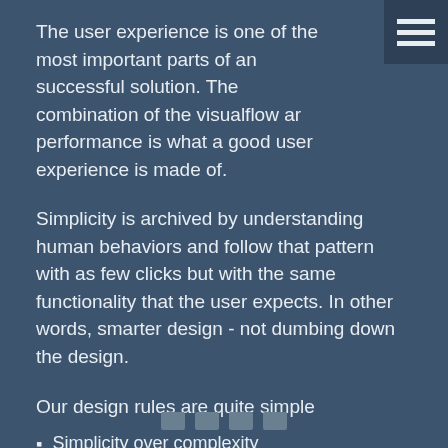The user experience is one of the most important parts of an successful solution. The combination of the visualflow and performance is what a good user experience is made of.
Simplicity is archived by understanding human behaviors and follow that pattern with as few clicks but with the same functionality that the user expects. In other words, smarter design - not dumbing down the design.
Our design rules are quite simple
Simplicity over complexity
As few clicks as possible
Performance
Latest design patterns